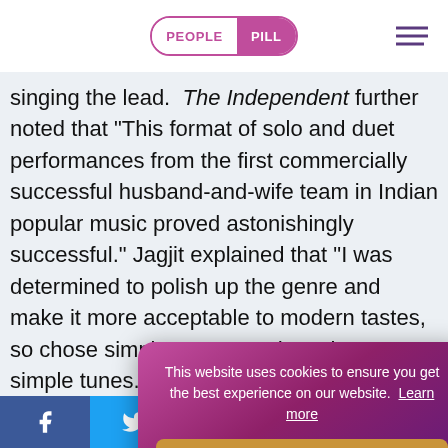PEOPLE PILL
singing the lead. The Independent further noted that "This format of solo and duet performances from the first commercially successful husband-and-wife team in Indian popular music proved astonishingly successful." Jagjit explained that "I was determined to polish up the genre and make it more acceptable to modern tastes, so chose simple poems and set them to simple tunes. I also introduced we... livelier." The... and joint musical p... ide. There was su...
This website uses cookies to ensure you get the best experience on our website. Learn more
Facebook Twitter Reddit LinkedIn WhatsApp